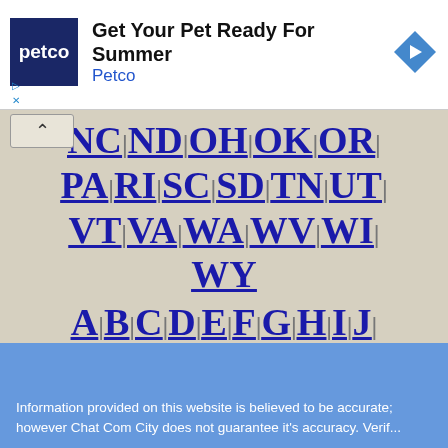[Figure (logo): Petco advertisement banner: Petco logo (white text on navy square), headline 'Get Your Pet Ready For Summer', subtext 'Petco', blue navigation arrow icon]
NC | ND | OH | OK | OR | PA | RI | SC | SD | TN | UT | VT | VA | WA | WV | WI | WY
A | B | C | D | E | F | G | H | I | J | K | L | M | N | O | P | Q | R | S | T | U | V | W | X | Y | Z
Information provided on this website is believed to be accurate; however Chat Com City does not guarantee it's accuracy. Verif...